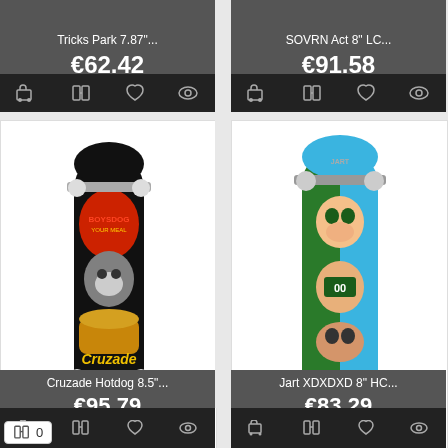Tricks Park 7.87"...
€62.42
SOVRN Act 8" LC...
€91.58
[Figure (photo): Cruzade Hotdog 8.5 skateboard deck with hotdog and dog artwork on black background]
Cruzade Hotdog 8.5"...
€95.79
[Figure (photo): Jart XDXDXD 8 HC skateboard deck with cartoon faces on blue and green background]
Jart XDXDXD 8" HC...
€83.29
0